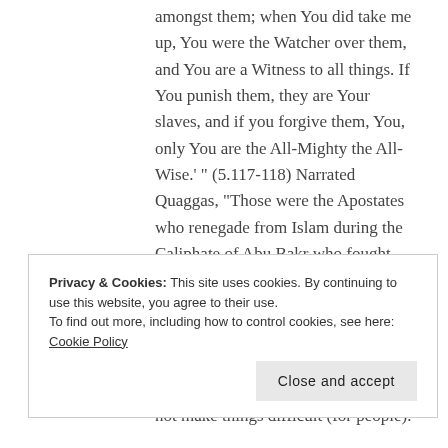amongst them; when You did take me up, You were the Watcher over them, and You are a Witness to all things. If You punish them, they are Your slaves, and if you forgive them, You, only You are the All-Mighty the All-Wise.' " (5.117-118) Narrated Quaggas, "Those were the Apostates who renegade from Islam during the Caliphate of Abu Bakr who fought them". (Book #55, Hadith #656)
Narrated Abu Burda: That the Prophet
Privacy & Cookies: This site uses cookies. By continuing to use this website, you agree to their use.
To find out more, including how to control cookies, see here: Cookie Policy
not make things difficult (for people).